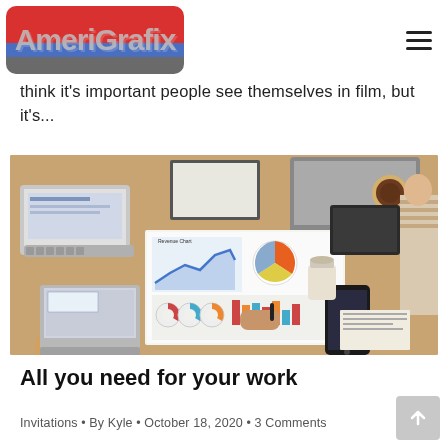AmeriGrafix
think it's important people see themselves in film, but it's...
[Figure (photo): Overhead view of a business team working around a wooden table with laptops, documents showing charts/graphs, smartphones, and coffee cups.]
All you need for your work
Invitations • By Kyle • October 18, 2020 • 3 Comments